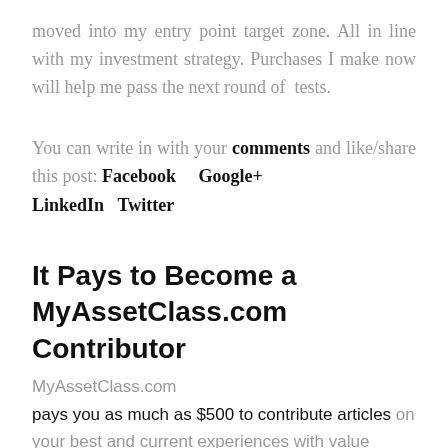moved into my entry point target zone. All in line with my investment strategy. Purchases I make now will help me pass the next round of tests.
You can write in with your comments and like/share this post: Facebook   Google+   LinkedIn   Twitter
It Pays to Become a MyAssetClass.com Contributor
MyAssetClass.com
pays you as much as $500 to contribute articles on your best and current experiences with value investing. The MyAssetClass.com forum focuses o...